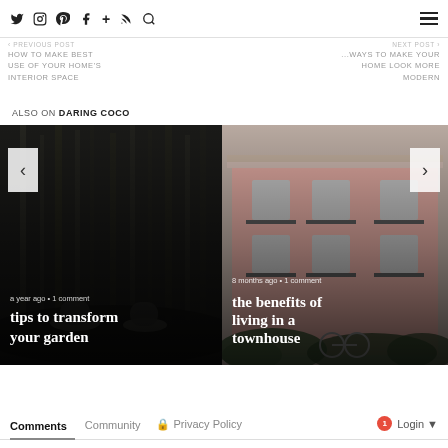Social icons: Twitter, Instagram, Pinterest, Facebook, Plus, RSS, Search | Hamburger menu
< PREVIOUS POST
HOW TO MAKE BEST USE OF YOUR HOME'S INTERIOR SPACE
NEXT POST >
...WAYS TO MAKE YOUR HOME LOOK MORE MODERN
ALSO ON DARING COCO
[Figure (photo): Dark garden scene with chairs, overlay text: a year ago · 1 comment | tips to transform your garden]
[Figure (photo): Pink building facade with balconies, overlay text: 8 months ago · 1 comment | the benefits of living in a townhouse]
Comments  Community  🔒 Privacy Policy  1  Login ▾